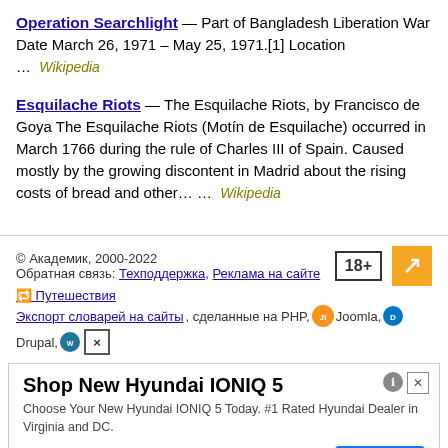Operation Searchlight — Part of Bangladesh Liberation War Date March 26, 1971 – May 25, 1971.[1] Location … Wikipedia
Esquilache Riots — The Esquilache Riots, by Francisco de Goya The Esquilache Riots (Motín de Esquilache) occurred in March 1766 during the rule of Charles III of Spain. Caused mostly by the growing discontent in Madrid about the rising costs of bread and other… … Wikipedia
© Академик, 2000-2022 Обратная связь: Техподдержка, Реклама на сайте
🔁 Путешествия
Экспорт словарей на сайты, сделанные на PHP, Joomla, Drupal,
[Figure (advertisement): Ad for Shop New Hyundai IONIQ 5 by Alexandria Hyundai with Open button]